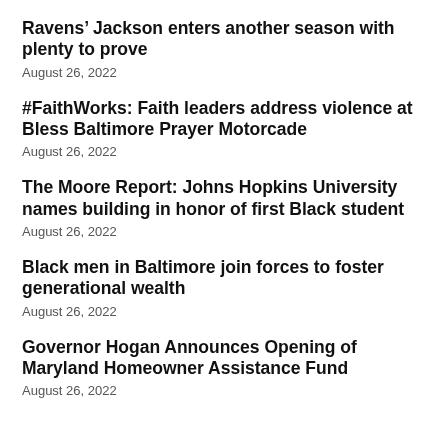Ravens’ Jackson enters another season with plenty to prove
August 26, 2022
#FaithWorks: Faith leaders address violence at Bless Baltimore Prayer Motorcade
August 26, 2022
The Moore Report: Johns Hopkins University names building in honor of first Black student
August 26, 2022
Black men in Baltimore join forces to foster generational wealth
August 26, 2022
Governor Hogan Announces Opening of Maryland Homeowner Assistance Fund
August 26, 2022